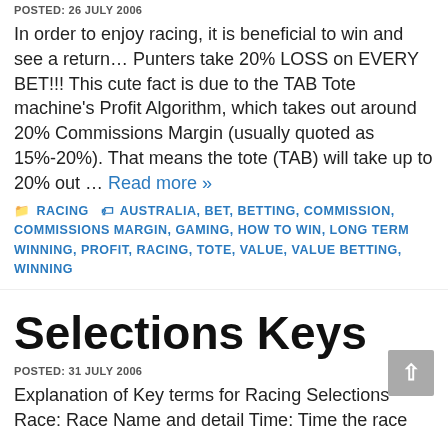POSTED: 26 JULY 2006
In order to enjoy racing, it is beneficial to win and see a return… Punters take 20% LOSS on EVERY BET!!! This cute fact is due to the TAB Tote machine's Profit Algorithm, which takes out around 20% Commissions Margin (usually quoted as 15%-20%). That means the tote (TAB) will take up to 20% out … Read more »
RACING  AUSTRALIA, BET, BETTING, COMMISSION, COMMISSIONS MARGIN, GAMING, HOW TO WIN, LONG TERM WINNING, PROFIT, RACING, TOTE, VALUE, VALUE BETTING, WINNING
Selections Keys
POSTED: 31 JULY 2006
Explanation of Key terms for Racing Selections Race: Race Name and detail Time: Time the race